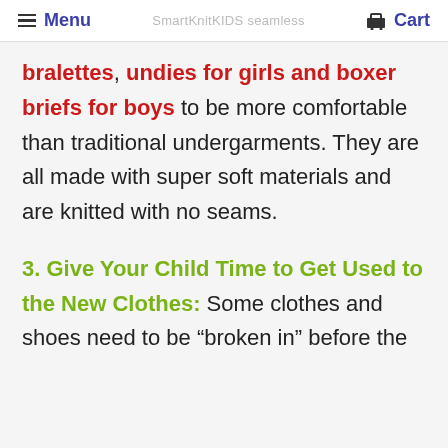Menu  SmartKnitKIDS seamless  Cart
bralettes, undies for girls and boxer briefs for boys to be more comfortable than traditional undergarments. They are all made with super soft materials and are knitted with no seams.
3. Give Your Child Time to Get Used to the New Clothes: Some clothes and shoes need to be "broken in" before they…